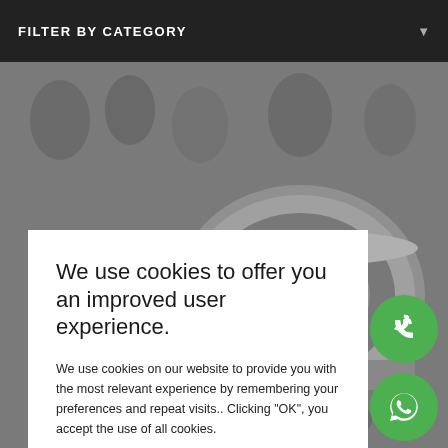FILTER BY CATEGORY
[Figure (photo): Background photo of a turbocharger component (metal cartridge assembly) with blurred crowd/people in upper background area, grayscale/monochrome]
We use cookies to offer you an improved user experience.
We use cookies on our website to provide you with the most relevant experience by remembering your preferences and repeat visits.. Clicking "OK", you accept the use of all cookies.
Cookie settings
OK
[Figure (illustration): Green circle button with white telephone handset icon (call button)]
[Figure (illustration): Green circle button with white WhatsApp logo icon]